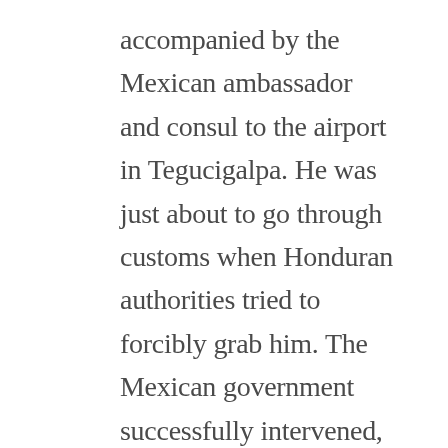accompanied by the Mexican ambassador and consul to the airport in Tegucigalpa. He was just about to go through customs when Honduran authorities tried to forcibly grab him. The Mexican government successfully intervened, and put Gustavo into protective custody in the Mexican Embassy. Now, the Honduran government has prevailed and reclaimed Gustavo, taking him back to the town of La Esperanza, where Berta lived and was killed. Gustavo is in terrible danger in Honduran custody, as what he witnessed is an impediment to the government's